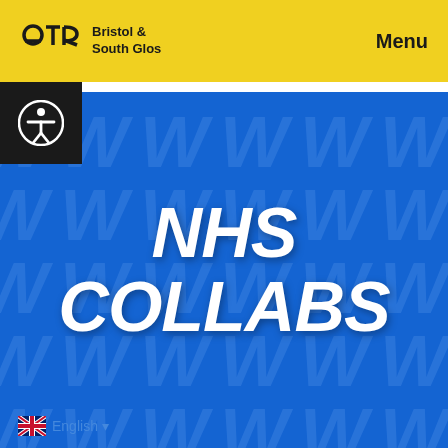OTR Bristol & South Glos | Menu
[Figure (logo): OTR Bristol & South Glos logo with accessibility icon, on yellow header bar]
NHS COLLABS
[Figure (illustration): Blue background with repeating NHS-style 'W' watermark pattern]
English